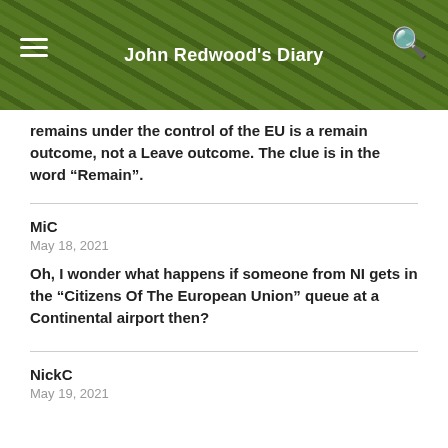John Redwood's Diary
remains under the control of the EU is a remain outcome, not a Leave outcome. The clue is in the word “Remain”.
MiC
May 18, 2021
Oh, I wonder what happens if someone from NI gets in the “Citizens Of The European Union” queue at a Continental airport then?
NickC
May 19, 2021